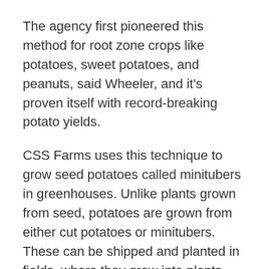The agency first pioneered this method for root zone crops like potatoes, sweet potatoes, and peanuts, said Wheeler, and it's proven itself with record-breaking potato yields.
CSS Farms uses this technique to grow seed potatoes called minitubers in greenhouses. Unlike plants grown from seed, potatoes are grown from either cut potatoes or minitubers. These can be shipped and planted in fields, where they grow into plants that produce large potatoes for consumption.
Soil-growing methods typically yield five or six minitubers per plant. “We’ll harvest two or three times a week for a 12-week harvest period in three crops per year. In a nutrient film system, you can